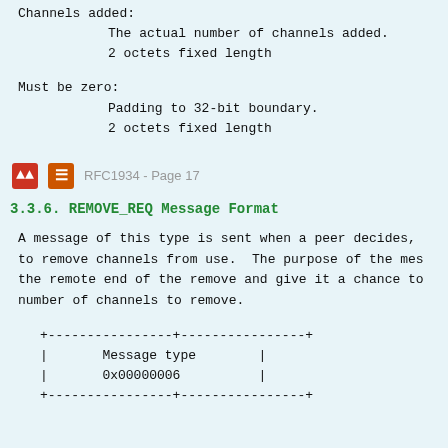Channels added:
        The actual number of channels added.
        2 octets fixed length
Must be zero:
        Padding to 32-bit boundary.
        2 octets fixed length
RFC1934 - Page 17
3.3.6. REMOVE_REQ Message Format
A message of this type is sent when a peer decides,
to remove channels from use.  The purpose of the mes
the remote end of the remove and give it a chance to
number of channels to remove.
| Message type | 0x00000006 |
| --- | --- |